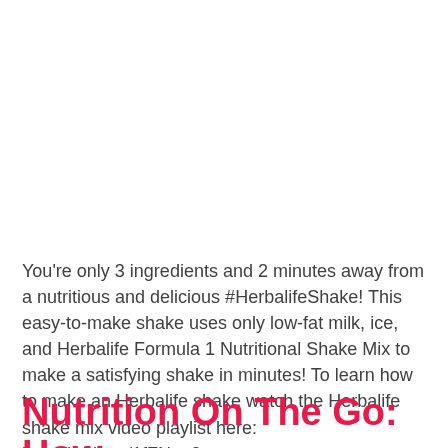You're only 3 ingredients and 2 minutes away from a nutritious and delicious #HerbalifeShake! This easy-to-make shake uses only low-fat milk, ice, and Herbalife Formula 1 Nutritional Shake Mix to make a satisfying shake in minutes! To learn how to make an Herbalife shake watch the Herbalife shake mix video playlist here: http://hrbl.me/1fFNpq3
Nutrition On The Go: How